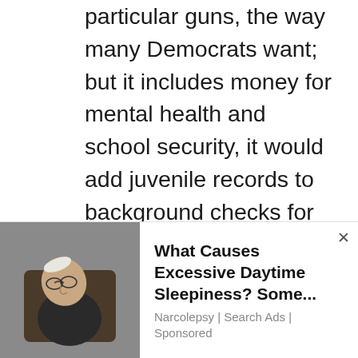particular guns, the way many Democrats want; but it includes money for mental health and school security, it would add juvenile records to background checks for any gun buyers under 21, it would deny guns to people convicted of domestic violence, and it includes grants for states to institute “red flag” laws.
https://www.westernjournal.com/breaking-report-gun-legislation-deal-reached-10-gop-senators-responsible/
These Republicans argue that it would be
[Figure (other): Advertisement overlay showing an elderly man sleeping in a chair with text 'What Causes Excessive Daytime Sleepiness? Some...' with subtext 'Narcolepsy | Search Ads | Sponsored' and a close button]